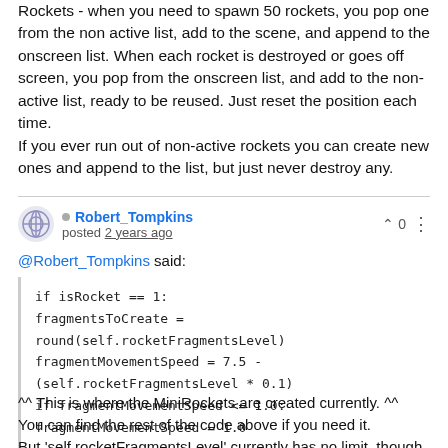Rockets - when you need to spawn 50 rockets, you pop one from the non active list, add to the scene, and append to the onscreen list. When each rocket is destroyed or goes off screen, you pop from the onscreen list, and add to the non-active list, ready to be reused. Just reset the position each time.
If you ever run out of non-active rockets you can create new ones and append to the list, but just never destroy any.
Robert_Tompkins posted 2 years ago
@Robert_Tompkins said:
if isRocket == 1:
fragmentsToCreate = round(self.rocketFragmentsLevel)
fragmentMovementSpeed = 7.5 - (self.rocketFragmentsLevel * 0.1)
if fragmentMovementSpeed <= 1.0:
fragmentMovementSpeed = 1.0
^^ This is where the MiniRockets are created currently. ^^
You can find the rest of the code above if you need it.
But 'self.rocketFragmentsLevel' currently has no limit, though I can cap it at 99 or 100.